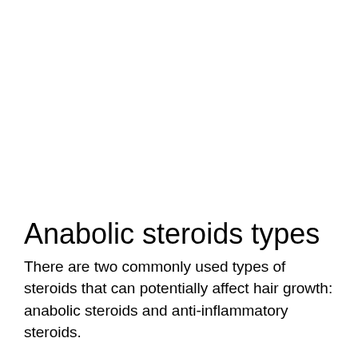Anabolic steroids types
There are two commonly used types of steroids that can potentially affect hair growth: anabolic steroids and anti-inflammatory steroids.